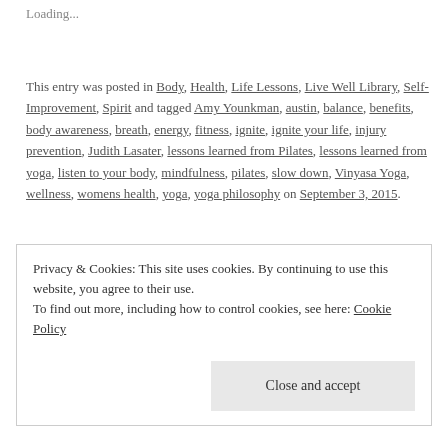Loading...
This entry was posted in Body, Health, Life Lessons, Live Well Library, Self-Improvement, Spirit and tagged Amy Younkman, austin, balance, benefits, body awareness, breath, energy, fitness, ignite, ignite your life, injury prevention, Judith Lasater, lessons learned from Pilates, lessons learned from yoga, listen to your body, mindfulness, pilates, slow down, Vinyasa Yoga, wellness, womens health, yoga, yoga philosophy on September 3, 2015.
Privacy & Cookies: This site uses cookies. By continuing to use this website, you agree to their use. To find out more, including how to control cookies, see here: Cookie Policy
Close and accept